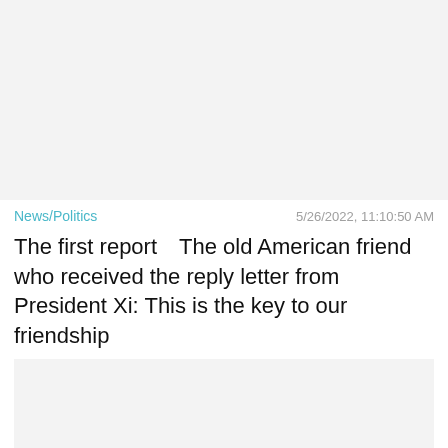[Figure (screenshot): Gray placeholder image block at top of page]
News/Politics   5/26/2022, 11:10:50 AM
The first report【The old American friend who received the reply letter from President Xi: This is the key to our friendship
[Figure (screenshot): Gray placeholder image block at bottom with Close X button]